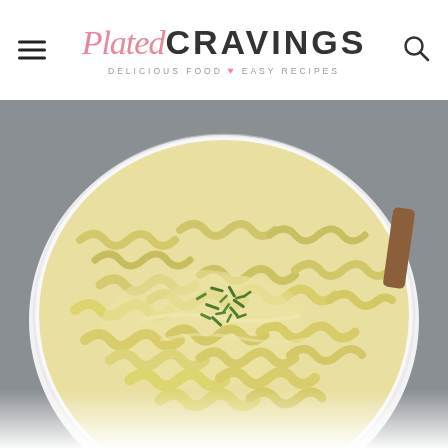Plated CRAVINGS — DELICIOUS FOOD ♥ EASY RECIPES
[Figure (photo): Overhead close-up photo of a white bowl filled with creamy pasta (cavatappi/gemelli style) garnished with fresh chopped green herbs (chives/parsley), set on a gray surface with a wooden utensil visible in the background.]